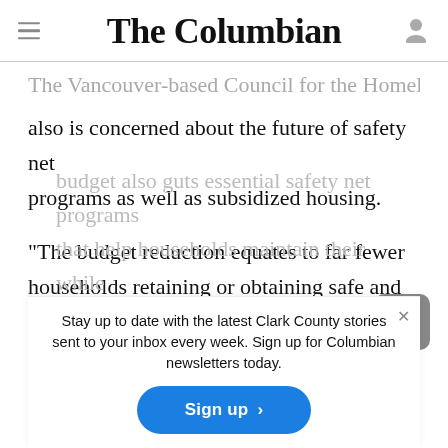The Columbian
The Vancouver-based Council for the Homeless also is concerned about the future of safety net programs as well as subsidized housing.
“The budget reduction equates to far fewer households retaining or obtaining safe and stable housing through program assistance in the budget also guts essential safety net programs that help households maintain their while
Stay up to date with the latest Clark County stories sent to your inbox every week. Sign up for Columbian newsletters today.